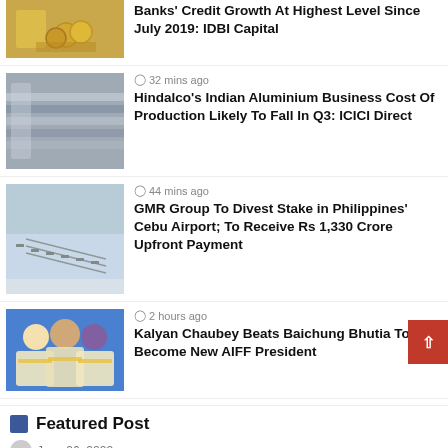[Figure (photo): Hands with coins - banking photo (partial, top cropped)]
Banks' Credit Growth At Highest Level Since July 2019: IDBI Capital
[Figure (photo): Aluminium rolls in a factory]
32 mins ago
Hindalco's Indian Aluminium Business Cost Of Production Likely To Fall In Q3: ICICI Direct
[Figure (photo): Aerial view of Cebu airport Philippines]
44 mins ago
GMR Group To Divest Stake in Philippines' Cebu Airport; To Receive Rs 1,330 Crore Upfront Payment
[Figure (photo): Three men in yellow scarves posing for photo]
2 hours ago
Kalyan Chaubey Beats Baichung Bhutia To Become New AIFF President
Featured Post
June 26, 2022
More than 8 million Illinoisans get drinking water from a